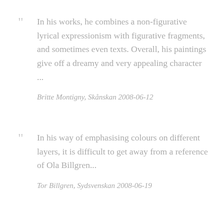In his works, he combines a non-figurative lyrical expressionism with figurative fragments, and sometimes even texts. Overall, his paintings give off a dreamy and very appealing character ...
Britte Montigny, Skånskan 2008-06-12
In his way of emphasising colours on different layers, it is difficult to get away from a reference of Ola Billgren...
Tor Billgren, Sydsvenskan 2008-06-19